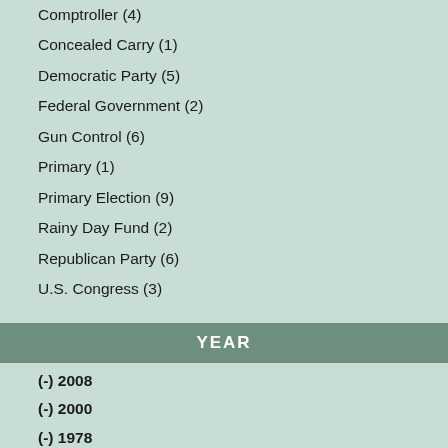Comptroller (4)
Concealed Carry (1)
Democratic Party (5)
Federal Government (2)
Gun Control (6)
Primary (1)
Primary Election (9)
Rainy Day Fund (2)
Republican Party (6)
U.S. Congress (3)
YEAR
(-) 2008
(-) 2000
(-) 1978
(-) 1975
2020 (1)
2019 (2)
2018 (2)